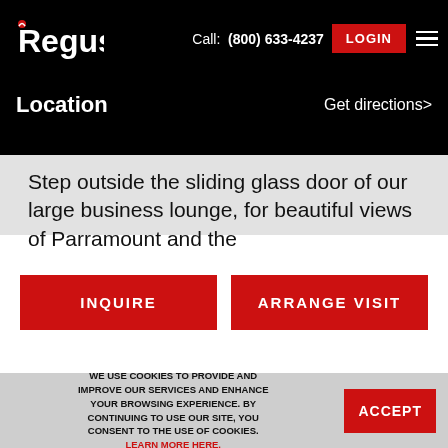[Figure (logo): Regus logo in white on black background]
Call: (800) 633-4237
LOGIN
Location
Get directions>
Step outside the sliding glass door of our large business lounge, for beautiful views of Parramount and the
INQUIRE
ARRANGE VISIT
WE USE COOKIES TO PROVIDE AND IMPROVE OUR SERVICES AND ENHANCE YOUR BROWSING EXPERIENCE. BY CONTINUING TO USE OUR SITE, YOU CONSENT TO THE USE OF COOKIES. LEARN MORE HERE.
ACCEPT